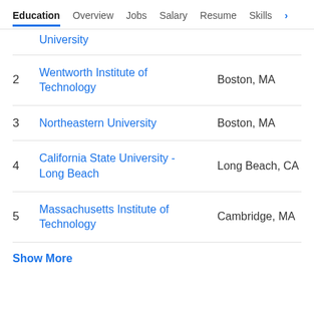Education  Overview  Jobs  Salary  Resume  Skills
| # | School | Location |
| --- | --- | --- |
|  | …g …g University | …p |
| 2 | Wentworth Institute of Technology | Boston, MA |
| 3 | Northeastern University | Boston, MA |
| 4 | California State University - Long Beach | Long Beach, CA |
| 5 | Massachusetts Institute of Technology | Cambridge, MA |
Show More